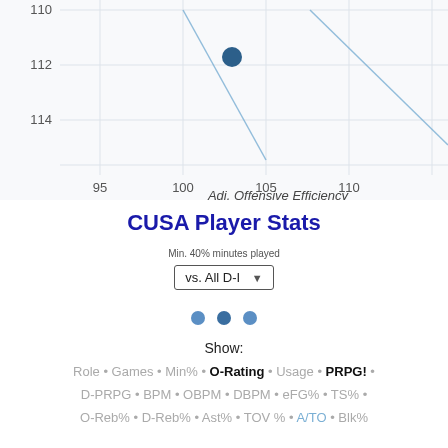[Figure (continuous-plot): Scatter plot fragment showing Adj. Offensive Efficiency (x-axis: 95–110) vs Adj. Defensive Efficiency (y-axis: 110–114, inverted). Contains a single dark blue dot near (102.5, 112) and two diagonal light-blue trend lines running from upper-left to lower-right.]
CUSA Player Stats
Min. 40% minutes played
vs. All D-I
Show:
Role • Games • Min% • O-Rating • Usage • PRPG! • D-PRPG • BPM • OBPM • DBPM • eFG% • TS% • O-Reb% • D-Reb% • Ast% • TOV % • A/TO • Blk%